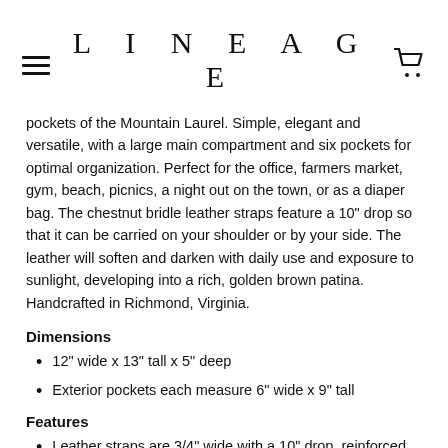LINEAGE
pockets of the Mountain Laurel. Simple, elegant and versatile, with a large main compartment and six pockets for optimal organization. Perfect for the office, farmers market, gym, beach, picnics, a night out on the town, or as a diaper bag. The chestnut bridle leather straps feature a 10" drop so that it can be carried on your shoulder or by your side. The leather will soften and darken with daily use and exposure to sunlight, developing into a rich, golden brown patina. Handcrafted in Richmond, Virginia.
Dimensions
12" wide x 13" tall x 5" deep
Exterior pockets each measure 6" wide x 9" tall
Features
Leather straps are 3/4" wide with a 10" drop, reinforced with